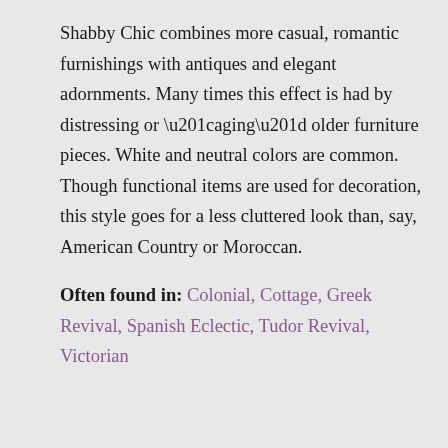Shabby Chic combines more casual, romantic furnishings with antiques and elegant adornments. Many times this effect is had by distressing or “aging” older furniture pieces. White and neutral colors are common. Though functional items are used for decoration, this style goes for a less cluttered look than, say, American Country or Moroccan.
Often found in: Colonial, Cottage, Greek Revival, Spanish Eclectic, Tudor Revival, Victorian